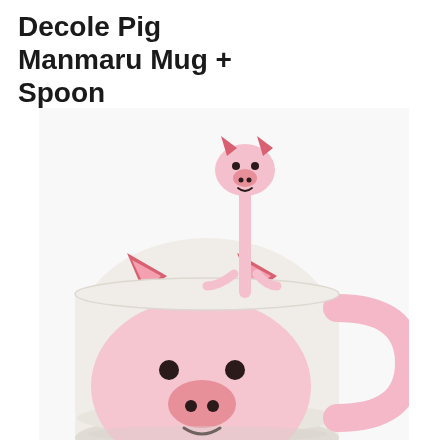Decole Pig Manmaru Mug + Spoon
[Figure (photo): A white ceramic pig-face mug with pink pig ears and snout design on the body, a pink curved handle, and a small pink pig-shaped spoon resting on the rim of the mug.]